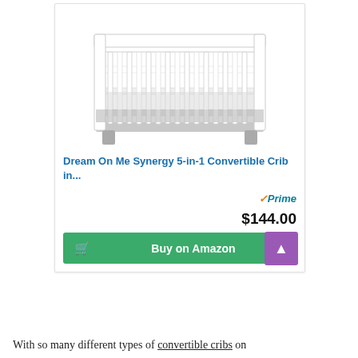[Figure (photo): White convertible baby crib with gray slats and gray base/legs, viewed from the front.]
Dream On Me Synergy 5-in-1 Convertible Crib in...
Prime $144.00
Buy on Amazon
With so many different types of convertible cribs on